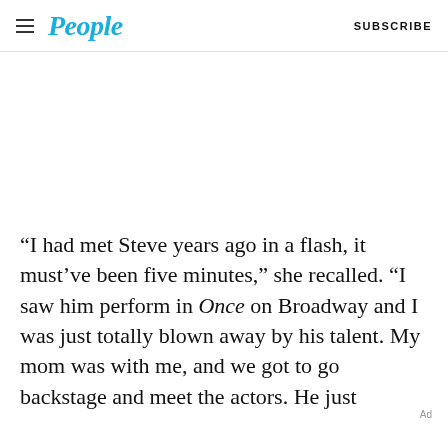People | SUBSCRIBE
“I had met Steve years ago in a flash, it must’ve been five minutes,” she recalled. “I saw him perform in Once on Broadway and I was just totally blown away by his talent. My mom was with me, and we got to go backstage and meet the actors. He just
Ad